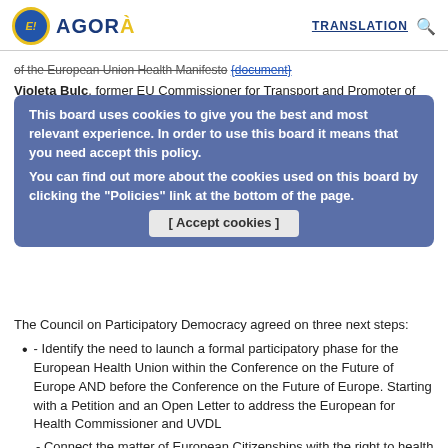E! AGORÀ   TRANSLATION 🔍
of the European Union Health Manifesto {document}
Violeta Bulc, former EU Commissioner for Transport and Promoter of the European Union Health Manifesto
Roger Casale, Executive Director of New Europeans and promoter of the Health Manifesto... [cookie overlay]
This board uses cookies to give you the best and most relevant experience. In order to use this board it means that you need accept this policy.
You can find out more about the cookies used on this board by clicking the "Policies" link at the bottom of the page.
[ Accept cookies ]
The Council on Participatory Democracy agreed on three next steps:
- Identify the need to launch a formal participatory phase for the European Health Union within the Conference on the Future of Europe AND before the Conference on the Future of Europe. Starting with a Petition and an Open Letter to address the European for Health Commissioner and UVDL
- Connect the matter of European Citizenships with the right to health and holistic approach to health reforms competencies / it is a matter that needs to be discussed among citizens and experts, transparently, with a feedback loop.
- Relaunch the petition on the decision of the Conference on the...